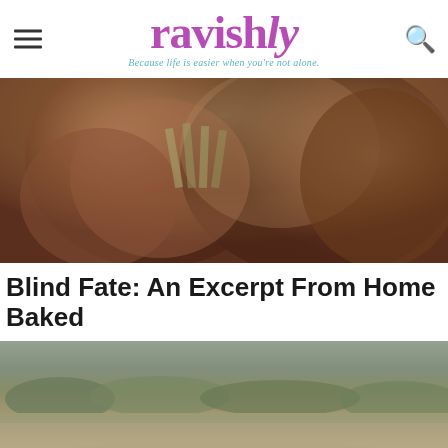ravishly — Because life is easier when you're not alone.
[Figure (photo): Two people in a car, one holding a fan of dollar bills close to their face, vintage-style warm-toned photograph]
Blind Fate: An Excerpt From Home Baked
[Figure (photo): Outdoor field scene with muted earthy tones, open landscape in background, partial figures in foreground]